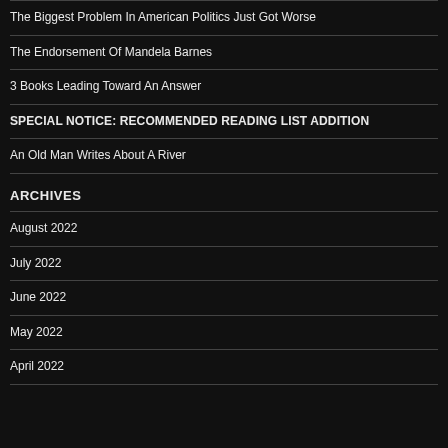The Biggest Problem In American Politics Just Got Worse
The Endorsement Of Mandela Barnes
3 Books Leading Toward An Answer
SPECIAL NOTICE: RECOMMENDED READING LIST ADDITION
An Old Man Writes About A River
ARCHIVES
August 2022
July 2022
June 2022
May 2022
April 2022